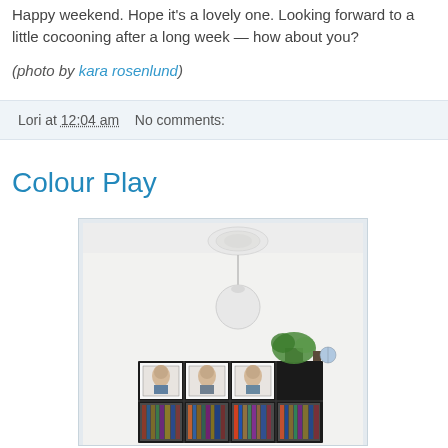Happy weekend. Hope it's a lovely one. Looking forward to a little cocooning after a long week — how about you?
(photo by kara rosenlund)
Lori at 12:04 am    No comments:
Colour Play
[Figure (photo): Interior room photo showing a black bookshelf unit filled with books and records, topped with framed portrait artworks and a potted plant. A round white pendant lamp hangs from an ornate ceiling rose above.]